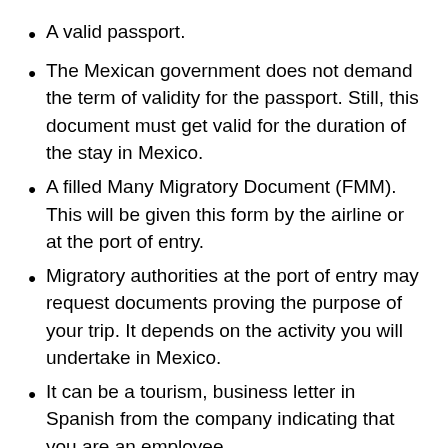A valid passport.
The Mexican government does not demand the term of validity for the passport. Still, this document must get valid for the duration of the stay in Mexico.
A filled Many Migratory Document (FMM). This will be given this form by the airline or at the port of entry.
Migratory authorities at the port of entry may request documents proving the purpose of your trip. It depends on the activity you will undertake in Mexico.
It can be a tourism, business letter in Spanish from the company indicating that you are an employee.
The services you will provide in Mexico will get